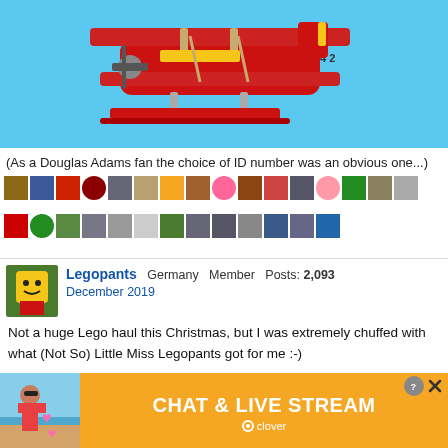[Figure (photo): Red LEGO biplane with ID number 42 against a blue sky background]
(As a Douglas Adams fan the choice of ID number was an obvious one...)
[Figure (other): Row of Facebook-style like reactions with user avatar icons, two rows totaling about 29 likes]
Legopants Germany  Member  Posts: 2,093
December 2019
Not a huge Lego haul this Christmas, but I was extremely chuffed with what (Not So) Little Miss Legopants got for me :-)
[Figure (screenshot): Advertisement banner for 'Chat & Live Stream' by Clover with beach photo and heart emoji]